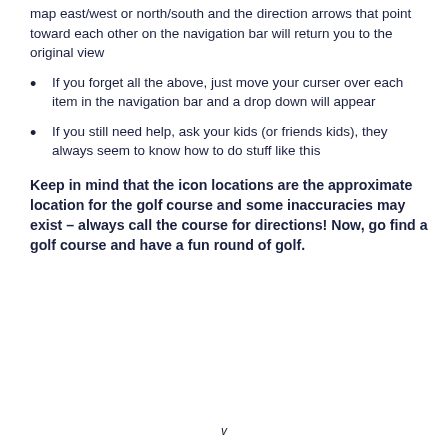map east/west or north/south and the direction arrows that point toward each other on the navigation bar will return you to the original view
If you forget all the above, just move your curser over each item in the navigation bar and a drop down will appear
If you still need help, ask your kids (or friends kids), they always seem to know how to do stuff like this
Keep in mind that the icon locations are the approximate location for the golf course and some inaccuracies may exist – always call the course for directions! Now, go find a golf course and have a fun round of golf.
v